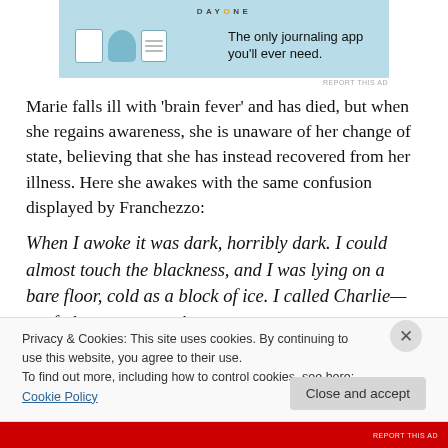[Figure (other): DAY ONE journaling app advertisement banner with icons and text 'The only journaling app you'll ever need.']
Marie falls ill with 'brain fever' and has died, but when she regains awareness, she is unaware of her change of state, believing that she has instead recovered from her illness. Here she awakes with the same confusion displayed by Franchezzo:
When I awoke it was dark, horribly dark. I could almost touch the blackness, and I was lying on a bare floor, cold as a block of ice. I called Charlie—my father—my nurse!
Privacy & Cookies: This site uses cookies. By continuing to use this website, you agree to their use.
To find out more, including how to control cookies, see here: Cookie Policy